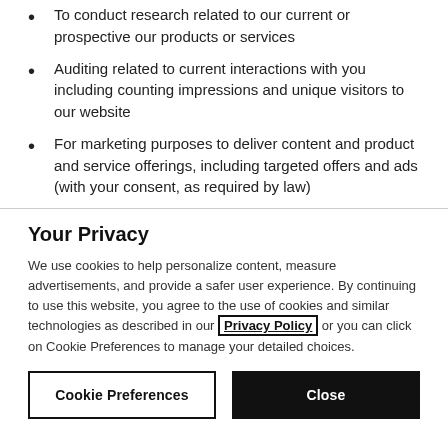To conduct research related to our current or prospective our products or services
Auditing related to current interactions with you including counting impressions and unique visitors to our website
For marketing purposes to deliver content and product and service offerings, including targeted offers and ads (with your consent, as required by law)
Your Privacy
We use cookies to help personalize content, measure advertisements, and provide a safer user experience. By continuing to use this website, you agree to the use of cookies and similar technologies as described in our Privacy Policy or you can click on Cookie Preferences to manage your detailed choices.
Cookie Preferences
Close